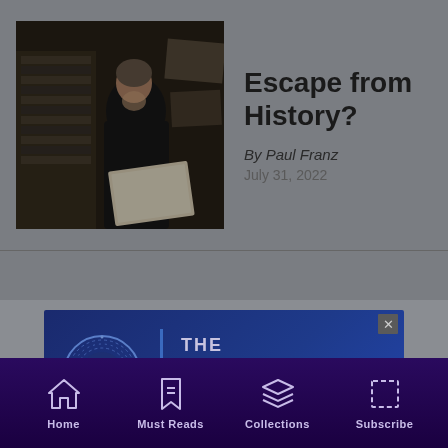[Figure (photo): Dark photo of elderly man reading or looking through papers/books in a cluttered room]
Escape from History?
By Paul Franz
July 31, 2022
[Figure (other): The Commonweal Podcast advertisement banner with blue background, circular play button logo, and text: THE Commonweal PODCAST]
Home | Must Reads | Collections | Subscribe